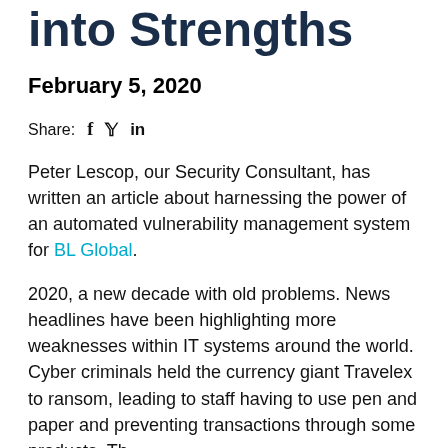into Strengths
February 5, 2020
Share:  f  y  in
Peter Lescop, our Security Consultant, has written an article about harnessing the power of an automated vulnerability management system for BL Global.
2020, a new decade with old problems. News headlines have been highlighting more weaknesses within IT systems around the world. Cyber criminals held the currency giant Travelex to ransom, leading to staff having to use pen and paper and preventing transactions through some products. Th...